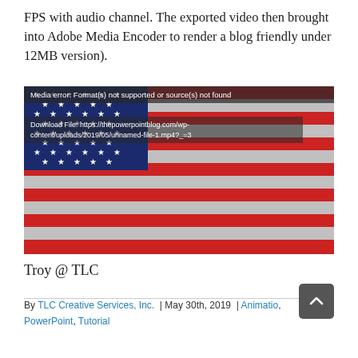FPS with audio channel. The exported video then brought into Adobe Media Encoder to render a blog friendly under 12MB version).
[Figure (photo): A video player showing an American flag image with a media error overlay reading 'Media error: Format(s) not supported or source(s) not found' and a download link.]
Troy @ TLC
By TLC Creative Services, Inc. | May 30th, 2019 | Animatio, PowerPoint, Tutorial